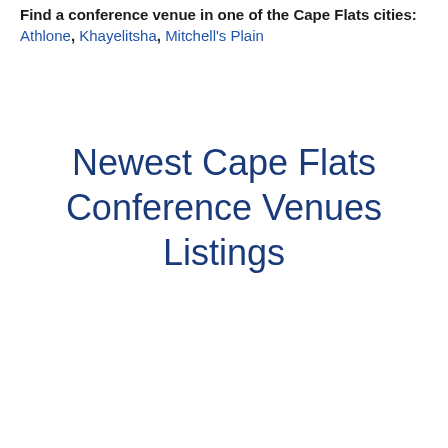Find a conference venue in one of the Cape Flats cities: Athlone, Khayelitsha, Mitchell's Plain
Newest Cape Flats Conference Venues Listings